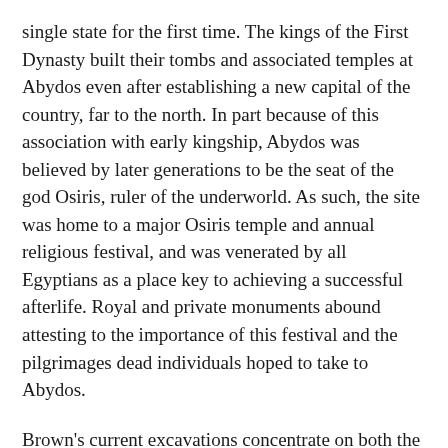single state for the first time. The kings of the First Dynasty built their tombs and associated temples at Abydos even after establishing a new capital of the country, far to the north. In part because of this association with early kingship, Abydos was believed by later generations to be the seat of the god Osiris, ruler of the underworld. As such, the site was home to a major Osiris temple and annual religious festival, and was venerated by all Egyptians as a place key to achieving a successful afterlife. Royal and private monuments abound attesting to the importance of this festival and the pilgrimages dead individuals hoped to take to Abydos.
Brown's current excavations concentrate on both the very early and the very late history of Abydos, dealing with First Dynasty royal mortuary temples and monumental Ptolemaic graves and animal hypogea. In addition to shedding light on these periods, we hope to come to a better understanding of the patterns of use of the site as a whole over its long history.